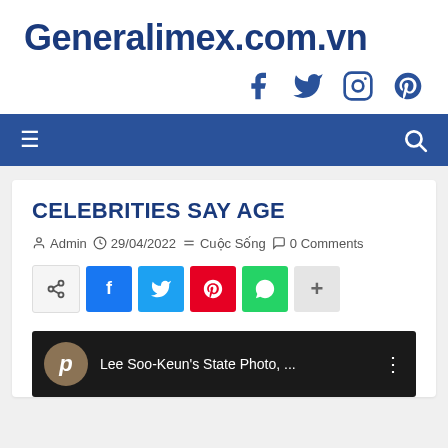Generalimex.com.vn
[Figure (infographic): Social media icons: Facebook, Twitter, Instagram, Pinterest]
[Figure (infographic): Navigation bar with hamburger menu icon on left and search icon on right, dark blue background]
CELEBRITIES SAY AGE
Admin  29/04/2022  # Cuoc Song  0 Comments
[Figure (infographic): Share buttons: native share, Facebook (f), Twitter (bird), Pinterest (p), WhatsApp, and more (+)]
[Figure (screenshot): Video thumbnail with dark background, brownish circular avatar with italic letter p, text 'Lee Soo-Keun's State Photo, ...' and three-dot menu]